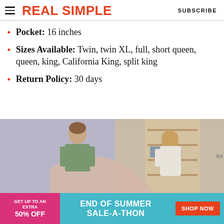REAL SIMPLE | SUBSCRIBE
Pocket: 16 inches
Sizes Available: Twin, twin XL, full, short queen, queen, king, California King, split king
Return Policy: 30 days
[Figure (photo): Two people making a bed together with a light beige/pink sheet; a woman near an open closet on the right, a young man on the left with his head down.]
[Figure (infographic): Advertisement banner: pink left section says GET UP TO AN EXTRA 50% OFF; teal center section says END OF SUMMER SALE-A-THON; orange SHOP NOW button on the right.]